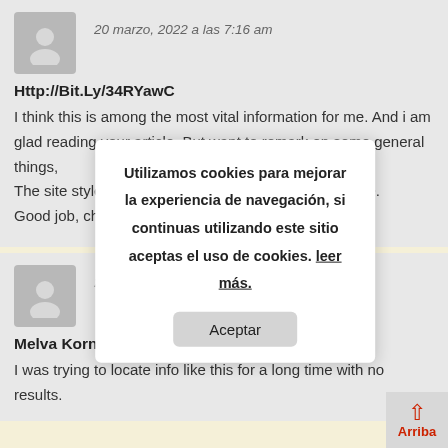20 marzo, 2022 a las 7:16 am
Http://Bit.Ly/34RYawC
I think this is among the most vital information for me. And i am glad reading your article. But want to remark on some general things,
The site style is ideal, the articles is really excellent : D.
Good job, cheers
Utilizamos cookies para mejorar la experiencia de navegación, si continuas utilizando este sitio aceptas el uso de cookies. leer más.
Aceptar
[Figure (other): Avatar placeholder icon for second comment]
20 marzo, 2022 a las 3:25 pm
Melva Kornbluth
I was trying to locate info like this for a long time with no results.
Arriba